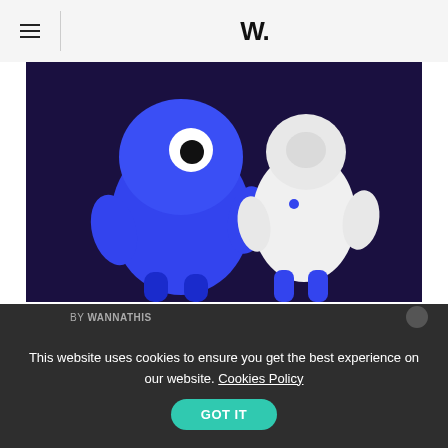W.
[Figure (illustration): Two 3D cartoon characters on a dark purple background: a blue blob-like creature with a large eye, and a white astronaut-like figure with blue accents]
Space 3d characters
From Portugal
July 1, 2022
BY WANNATHIS
This website uses cookies to ensure you get the best experience on our website. Cookies Policy
GOT IT